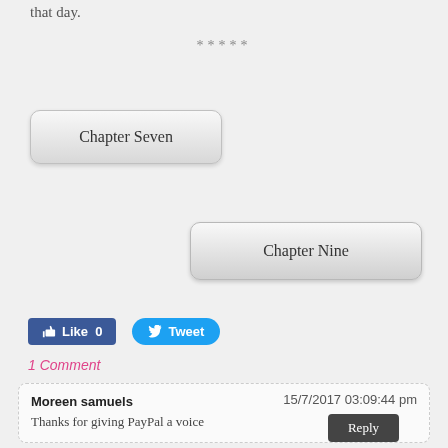that day.
*****
Chapter Seven
Chapter Nine
[Figure (other): Facebook Like button (0) and Twitter Tweet button]
1 Comment
Moreen samuels
15/7/2017 03:09:44 pm
Thanks for giving PayPal a voice